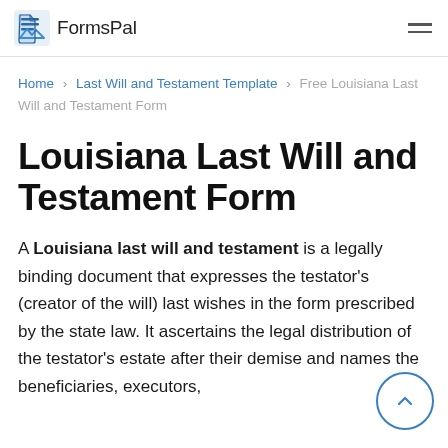FormsPal
Home > Last Will and Testament Template > Free Louisiana Last Will and Testament Form
Louisiana Last Will and Testament Form
A Louisiana last will and testament is a legally binding document that expresses the testator's (creator of the will) last wishes in the form prescribed by the state law. It ascertains the legal distribution of the testator's estate after their demise and names the beneficiaries, executors,